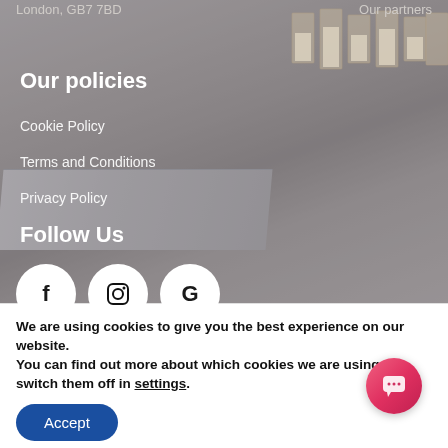London, GB7 7BD   Our partners
[Figure (photo): Kitchen interior with marble countertop, beige cabinets with gold handles, and glass candle holders on marble surface. Image has dark overlay.]
Our policies
Cookie Policy
Terms and Conditions
Privacy Policy
Follow Us
[Figure (illustration): Three white circular social media icons: Facebook (F), Instagram (camera), Google (G)]
We are using cookies to give you the best experience on our website.
You can find out more about which cookies we are using or switch them off in settings.
Accept